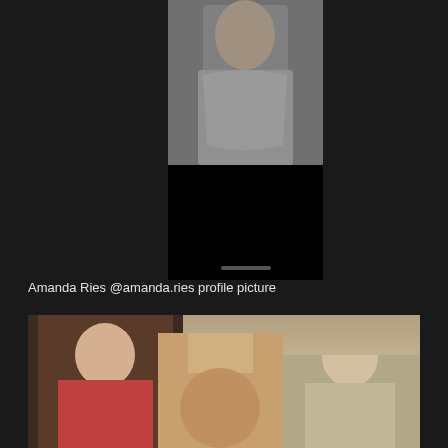[Figure (photo): Screenshot of a social media profile showing photos of a blonde woman. Top portion shows a woman in a gray crop top against a dark background, followed by a blacked-out image below. Bottom portion shows a grid of three photos of a blonde woman in various poses.]
Amanda Ries @amanda.ries profile picture